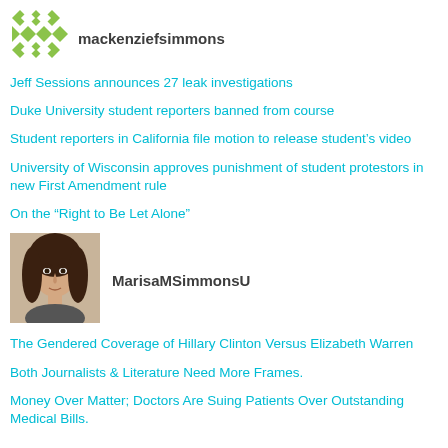[Figure (logo): Green geometric snowflake/diamond pattern logo for mackenziefsimmons]
mackenziefsimmons
Jeff Sessions announces 27 leak investigations
Duke University student reporters banned from course
Student reporters in California file motion to release student's video
University of Wisconsin approves punishment of student protestors in new First Amendment rule
On the “Right to Be Let Alone”
[Figure (photo): Profile photo of a young woman with dark hair]
MarisaMSimmonsU
The Gendered Coverage of Hillary Clinton Versus Elizabeth Warren
Both Journalists & Literature Need More Frames.
Money Over Matter; Doctors Are Suing Patients Over Outstanding Medical Bills.